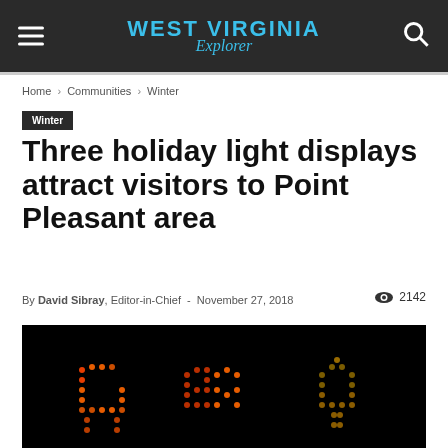WEST VIRGINIA Explorer
Home › Communities › Winter
Winter
Three holiday light displays attract visitors to Point Pleasant area
By David Sibray, Editor-in-Chief - November 27, 2018  2142
[Figure (photo): Holiday light display showing illuminated figures made of dots/lights on a dark background]